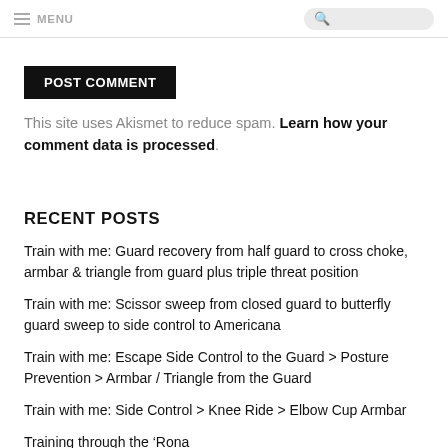MENU [search box]
POST COMMENT
This site uses Akismet to reduce spam. Learn how your comment data is processed.
RECENT POSTS
Train with me: Guard recovery from half guard to cross choke, armbar & triangle from guard plus triple threat position
Train with me: Scissor sweep from closed guard to butterfly guard sweep to side control to Americana
Train with me: Escape Side Control to the Guard > Posture Prevention > Armbar / Triangle from the Guard
Train with me: Side Control > Knee Ride > Elbow Cup Armbar
Training through the ‘Rona